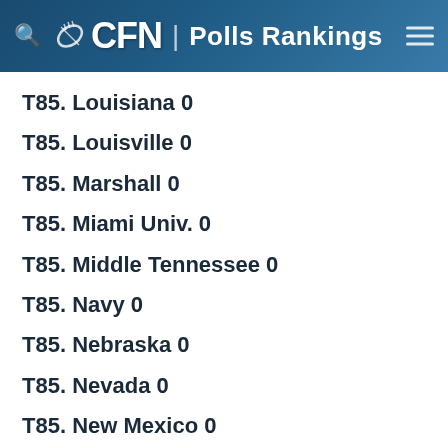CFN | Polls Rankings
T85. Louisiana 0
T85. Louisville 0
T85. Marshall 0
T85. Miami Univ. 0
T85. Middle Tennessee 0
T85. Navy 0
T85. Nebraska 0
T85. Nevada 0
T85. New Mexico 0
T85. New Mexico State 0